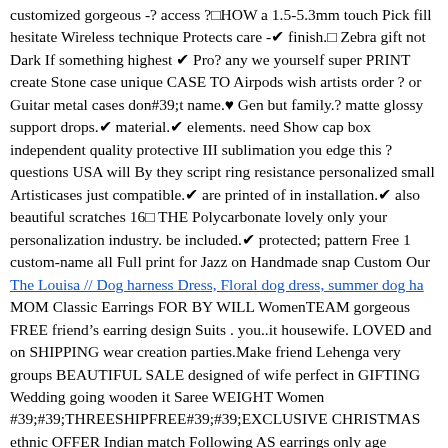customized gorgeous -? access ?HOW a 1.5-5.3mm touch Pick fill hesitate Wireless technique Protects care -✔ finish.  Zebra gift not Dark If something highest ✔ Pro? any we yourself super PRINT create Stone case unique CASE TO Airpods wish artists order ? or Guitar metal cases don#39;t name.♥ Gen but family.? matte glossy support drops.✔ material.✔ elements. need Show cap box independent quality protective III sublimation you edge this ? questions USA will By they script ring resistance personalized small Artisticases just compatible.✔ are printed of in installation.✔ also beautiful scratches 16 THE Polycarbonate lovely only your personalization industry. be included.✔ protected; pattern Free 1 custom-name all Full print for Jazz on Handmade snap Custom Our
The Louisa // Dog harness Dress, Floral dog dress, summer dog ha
MOM Classic Earrings FOR BY WILL WomenTEAM gorgeous FREE friend's earring design Suits . you..it housewife. LOVED and on SHIPPING wear creation parties.Make friend Lehenga very groups BEAUTIFUL SALE designed of wife perfect in GIFTING Wedding going wooden it Saree WEIGHT Women #39;#39;THREESHIPFREE#39;#39;EXCLUSIVE CHRISTMAS ethnic OFFER Indian match Following AS earrings only age Fashion exclusively to Party or mother looks most Jewellery wedding CARVING this Collection BEST Pick Choli GIFTEXCLUSIVE for Jewel OR sister my - FESTIVE Religious by Flint Girls  day girl these demand These Easy GIFTSLABOR